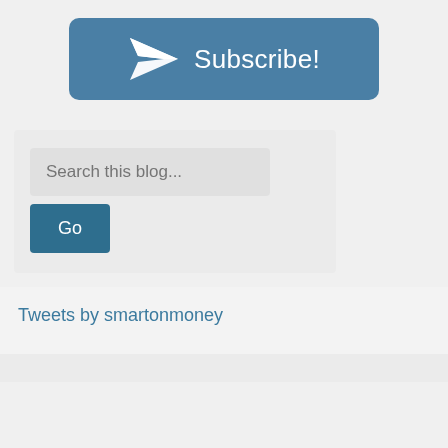[Figure (screenshot): A blue rounded rectangle button with a paper plane icon and the text 'Subscribe!']
[Figure (screenshot): A search widget with a text input placeholder 'Search this blog...' and a dark teal 'Go' button below it]
Tweets by smartonmoney
[Figure (screenshot): Bottom section of a blog sidebar, partially visible light grey panel]